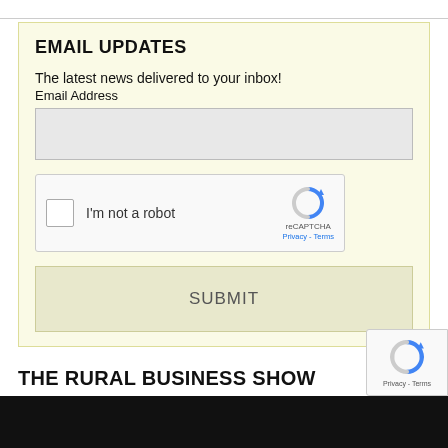EMAIL UPDATES
The latest news delivered to your inbox!
Email Address
[Figure (screenshot): reCAPTCHA widget with checkbox labeled I'm not a robot]
SUBMIT
THE RURAL BUSINESS SHOW
[Figure (photo): Dark background with red arc/circle shape, logo for The Rural Business Show]